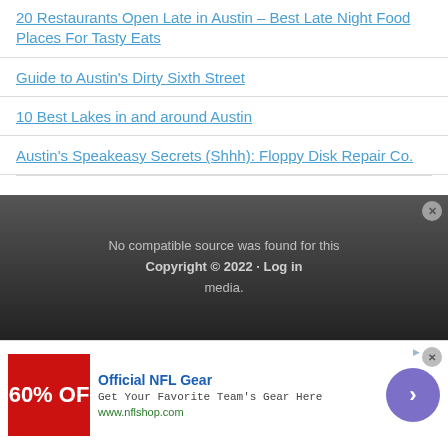20 Restaurants Open Late in Austin – Best Late Night Food Places For Tasty Eats
Guide to Austin's Dirty Sixth Street
10 Best Lakes in and around Austin
Austin's Speakeasy Secrets (Shhh): Floppy Disk Repair Co.
[Figure (screenshot): Video player overlay showing 'No compatible source was found for this media.' error message on dark background]
Copyright © 2022 · Log in
[Figure (screenshot): Advertisement banner for Official NFL Gear - 60% OFF - Get Your Favorite Team's Gear Here - www.nflshop.com]